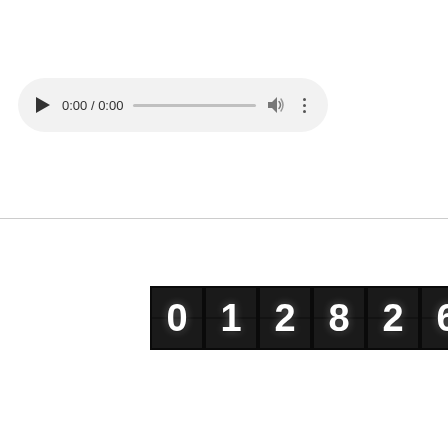[Figure (screenshot): Audio player widget with play button, time display showing 0:00 / 0:00, progress bar, volume icon, and more options icon, on a light grey pill-shaped background]
[Figure (other): Mechanical counter / odometer display showing the number 01282628 in white digits on dark black tiles]